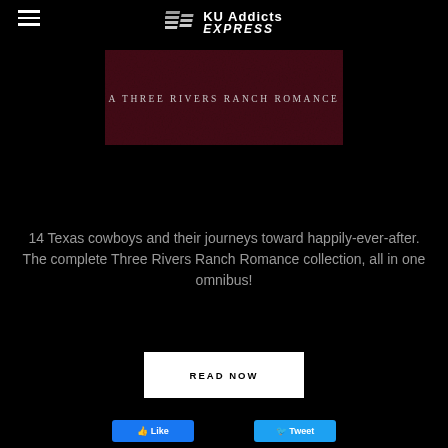KU Addicts EXPRESS
[Figure (illustration): Dark maroon/burgundy textured banner image with text 'A THREE RIVERS RANCH ROMANCE' in spaced serif lettering]
14 Texas cowboys and their journeys toward happily-ever-after. The complete Three Rivers Ranch Romance collection, all in one omnibus!
READ NOW